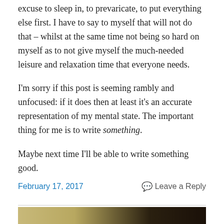excuse to sleep in, to prevaricate, to put everything else first. I have to say to myself that will not do that – whilst at the same time not being so hard on myself as to not give myself the much-needed leisure and relaxation time that everyone needs.
I'm sorry if this post is seeming rambly and unfocused: if it does then at least it's an accurate representation of my mental state. The important thing for me is to write something.
Maybe next time I'll be able to write something good.
February 17, 2017   Leave a Reply
[Figure (photo): Partial photo visible at bottom of page showing what appears to be a golden/yellow object against a dark background]